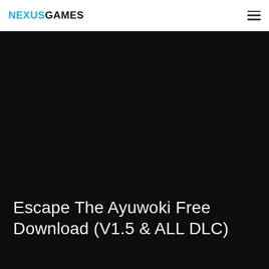NEXUSGAMES
[Figure (photo): Dark hero banner image with black background for a game download page]
Escape The Ayuwoki Free Download (V1.5 & ALL DLC)